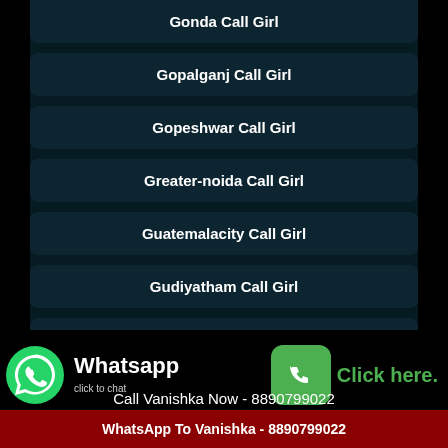Gonda Call Girl
Gopalganj Call Girl
Gopeshwar Call Girl
Greater-noida Call Girl
Guatemalacity Call Girl
Gudiyatham Call Girl
Gulbarga Call Girl
Whatsapp click to chat
Click here.
Call Vanishka Now - 8890799022
WhatsApp To Vanishka - 8890799022